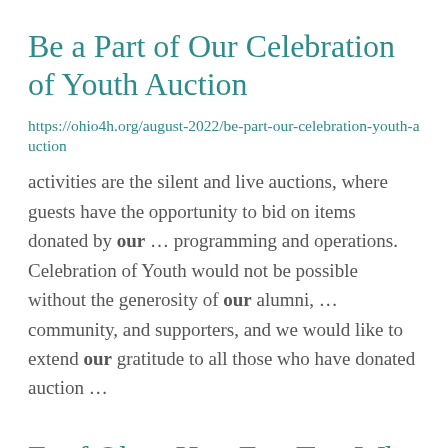Be a Part of Our Celebration of Youth Auction
https://ohio4h.org/august-2022/be-part-our-celebration-youth-auction
activities are the silent and live auctions, where guests have the opportunity to bid on items donated by our ... programming and operations. Celebration of Youth would not be possible without the generosity of our alumni, ... community, and supporters, and we would like to extend our gratitude to all those who have donated auction ...
F...f Oh... H... F... T... Wh...